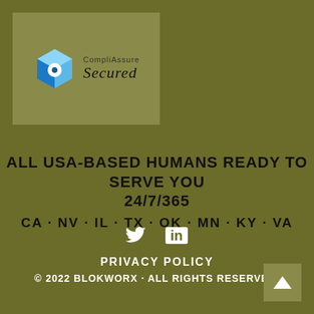[Figure (logo): CompliAssure Secured logo with blue 3D cube icon and text 'CompliAssure Secured' on an olive/tan background box]
ALL USA-BASED HUMANS READY TO SERVE YOU 24/7/365
CA · NV · IL · TX · OK · MN · KY · VA
[Figure (infographic): Twitter bird icon and LinkedIn 'in' icon in white]
PRIVACY POLICY
© 2022 BLOKWORX · ALL RIGHTS RESERVED.